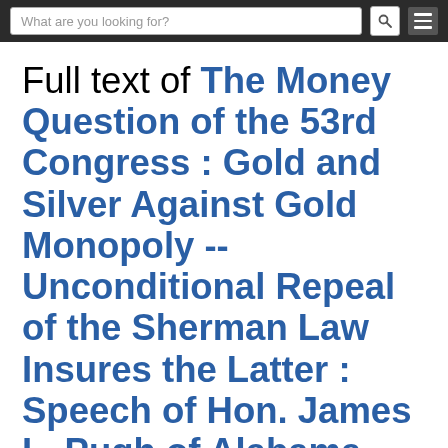What are you looking for?
Full text of The Money Question of the 53rd Congress : Gold and Silver Against Gold Monopoly -- Unconditional Repeal of the Sherman Law Insures the Latter : Speech of Hon. James L. Pugh of Alabama, Debate in the Senate, v.2, I-R